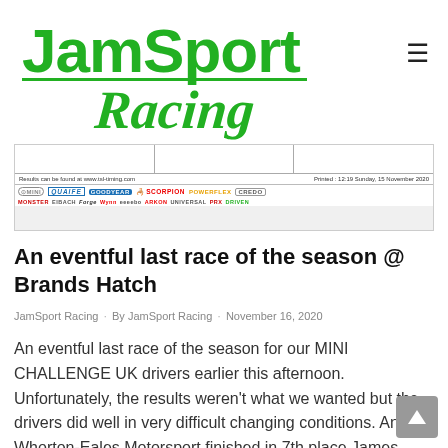[Figure (logo): JamSport Racing logo in green italic lettering with racing style typography]
[Figure (screenshot): Partial race results table with sponsor logos including MINI, QUAIFE, GOODYEAR, SCORPION, POWERFLEX, CREDO and others. Footer shows 'Results can be found at www.tsl-timing.com' and 'Printed: 12:19 Sunday, 15 November 2020']
An eventful last race of the season @ Brands Hatch
JamSport Racing · By JamSport Racing · November 16, 2020
An eventful last race of the season for our MINI CHALLENGE UK drivers earlier this afternoon. Unfortunately, the results weren't what we wanted but the drivers did well in very difficult changing conditions. Ant Whorton-Eales Motorsport finished in 7th place James Griffith finished in 14th place Tom Rawlings Racing sadly didn't finish the r...